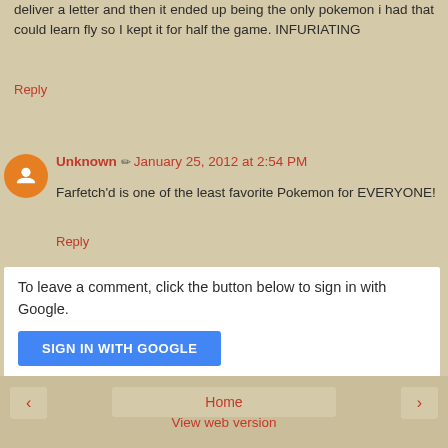deliver a letter and then it ended up being the only pokemon i had that could learn fly so I kept it for half the game. INFURIATING
Reply
Unknown  January 25, 2012 at 2:54 PM
Farfetch'd is one of the least favorite Pokemon for EVERYONE!
Reply
To leave a comment, click the button below to sign in with Google.
SIGN IN WITH GOOGLE
Home
View web version